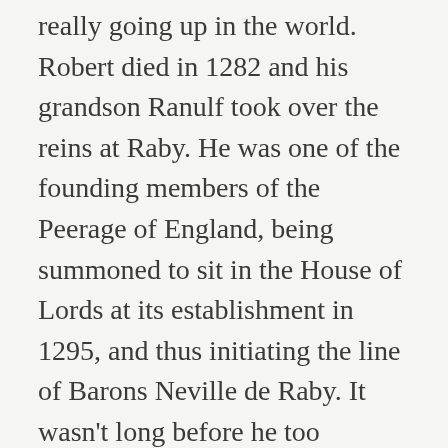really going up in the world. Robert died in 1282 and his grandson Ranulf took over the reins at Raby. He was one of the founding members of the Peerage of England, being summoned to sit in the House of Lords at its establishment in 1295, and thus initiating the line of Barons Neville de Raby. It wasn't long before he too succumbed to the grim reaper and in 1331 was succeeded by his 2nd son Ralph. Why didn't his first son get it? Because he was a bit of a rogue ~ Robert Nevill, known as the Peacock of the North, was slain at Berwick in 1319 by the Black Douglas. (If